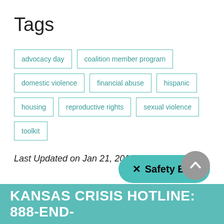Tags
advocacy day
coalition member program
domestic violence
financial abuse
hispanic
housing
reproductive rights
sexual violence
toolkit
Last Updated on Jan 21, 2019
✕  Safety Exit
KANSAS CRISIS HOTLINE: 888-END-